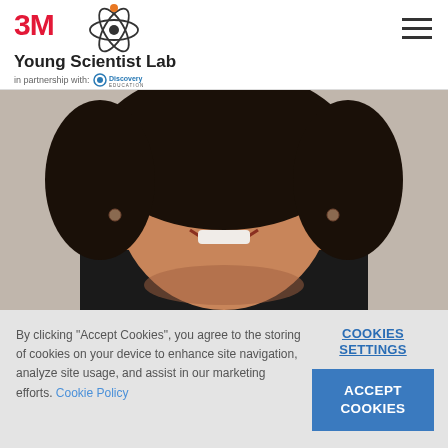3M Young Scientist Lab in partnership with Discovery Education
[Figure (photo): Portrait photo of a woman with natural curly hair, smiling, wearing a black top and hoop earrings, against a grey background]
By clicking "Accept Cookies", you agree to the storing of cookies on your device to enhance site navigation, analyze site usage, and assist in our marketing efforts. Cookie Policy
COOKIES SETTINGS
ACCEPT COOKIES